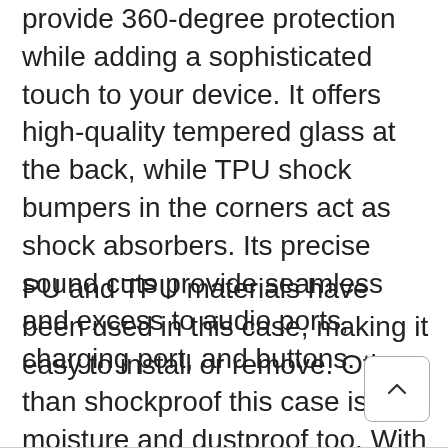provide 360-degree protection while adding a sophisticated touch to your device. It offers high-quality tempered glass at the back, while TPU shock bumpers in the corners act as shock absorbers. Its precise sound cuts provide seamless and excess to audio ports, charging port, and buttons.
PU and TPU materials have been used in this case, making it easy to install or remove. Other than shockproof this case is moisture and dustproof too. With raised lip, it safeguards your screen from shocks and bumps.